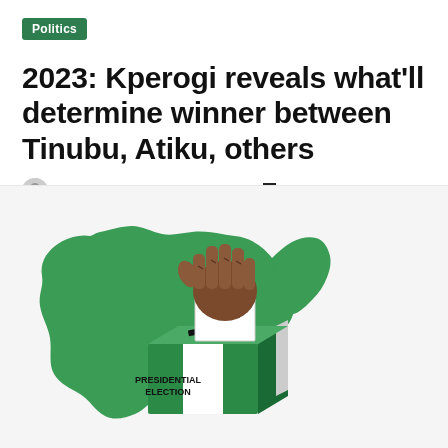Politics
2023: Kperogi reveals what'll determine winner between Tinubu, Atiku, others
Adeola Bodunrin · June 21, 2022 · 1 minute read
[Figure (illustration): Illustration of a fist inserting a VOTE ballot into a box labeled PRESIDENTIAL ELECTION, overlaid on a green silhouette of Nigeria's map]